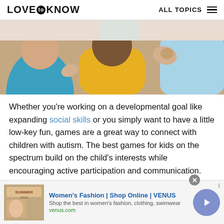LOVE to KNOW   ALL TOPICS
[Figure (photo): Photo of children and adults sitting together in a group, viewed from behind, with a child in a yellow shirt in the center.]
Whether you're working on a developmental goal like expanding social skills or you simply want to have a little low-key fun, games are a great way to connect with children with autism. The best games for kids on the spectrum build on the child's interests while encouraging active participation and communication.
[Figure (other): Advertisement banner: Women's Fashion | Shop Online | VENUS. Shop the best in women's fashion, clothing, swimwear. venus.com]